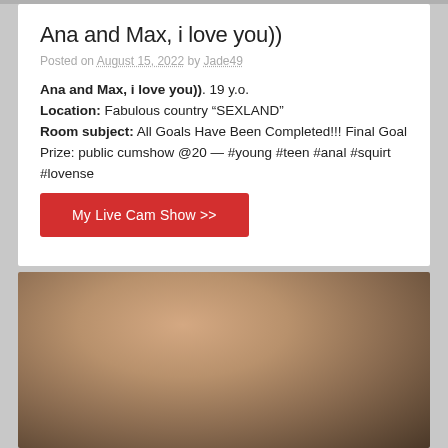Ana and Max, i love you))
Posted on August 15, 2022 by Jade49
Ana and Max, i love you)). 19 y.o.
Location: Fabulous country “SEXLAND”
Room subject: All Goals Have Been Completed!!! Final Goal Prize: public cumshow @20 — #young #teen #anal #squirt #lovense
My Live Cam Show >>
[Figure (photo): Partial photo visible at bottom of page, appears to show a person]